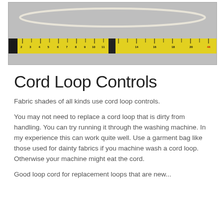[Figure (photo): A white cord loop laid flat above a yellow tape measure, photographed on a gray background. The cord forms an elongated oval/loop shape. The tape measure runs horizontally across the bottom of the image showing measurements from approximately 1 to 44 inches.]
Cord Loop Controls
Fabric shades of all kinds use cord loop controls.
You may not need to replace a cord loop that is dirty from handling. You can try running it through the washing machine. In my experience this can work quite well. Use a garment bag like those used for dainty fabrics if you machine wash a cord loop.  Otherwise your machine might eat the cord.
Good loop cord for replacement loops that are new...